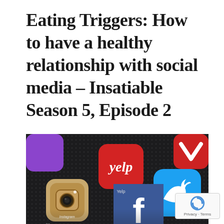Eating Triggers: How to have a healthy relationship with social media – Insatiable Season 5, Episode 2
[Figure (photo): Close-up photo of a smartphone screen showing social media app icons including Instagram, Yelp, Facebook, Twitter, and others on a dark background.]